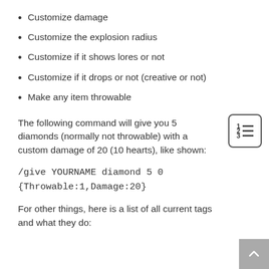Customize damage
Customize the explosion radius
Customize if it shows lores or not
Customize if it drops or not (creative or not)
Make any item throwable
The following command will give you 5 diamonds (normally not throwable) with a custom damage of 20 (10 hearts), like shown:
/give YOURNAME diamond 5 0
{Throwable:1,Damage:20}
For other things, here is a list of all current tags and what they do: